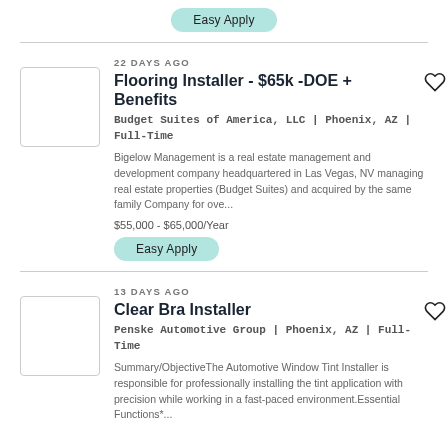Easy Apply
22 DAYS AGO
Flooring Installer - $65k -DOE + Benefits
Budget Suites of America, LLC | Phoenix, AZ | Full-Time
Bigelow Management is a real estate management and development company headquartered in Las Vegas, NV managing real estate properties (Budget Suites) and acquired by the same family Company for ove...
$55,000 - $65,000/Year
Easy Apply
13 DAYS AGO
Clear Bra Installer
Penske Automotive Group | Phoenix, AZ | Full-Time
Summary/ObjectiveThe Automotive Window Tint Installer is responsible for professionally installing the tint application with precision while working in a fast-paced environment.Essential Functions*...